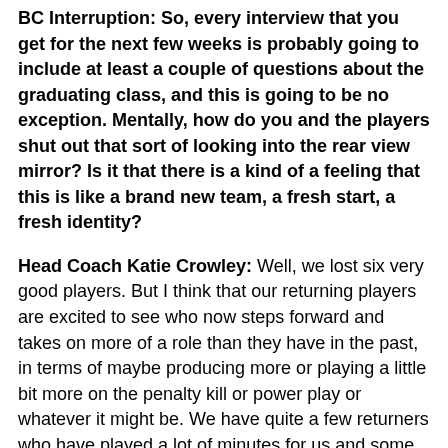BC Interruption: So, every interview that you get for the next few weeks is probably going to include at least a couple of questions about the graduating class, and this is going to be no exception. Mentally, how do you and the players shut out that sort of looking into the rear view mirror? Is it that there is a kind of a feeling that this is like a brand new team, a fresh start, a fresh identity?
Head Coach Katie Crowley: Well, we lost six very good players. But I think that our returning players are excited to see who now steps forward and takes on more of a role than they have in the past, in terms of maybe producing more or playing a little bit more on the penalty kill or power play or whatever it might be. We have quite a few returners who have played a lot of minutes for us and some decent time in terms of